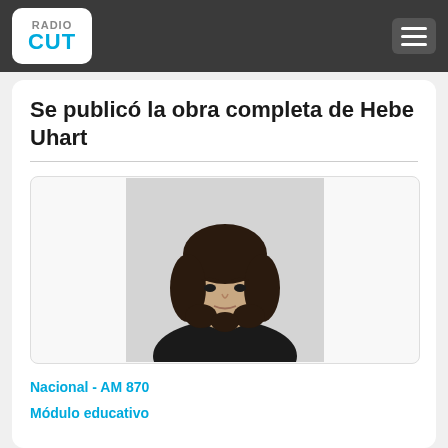RADIO CUT
Se publicó la obra completa de Hebe Uhart
[Figure (photo): Portrait photo of a young woman with dark curly/wavy hair, wearing a black top, photographed against a light grey background.]
Nacional - AM 870
Módulo educativo